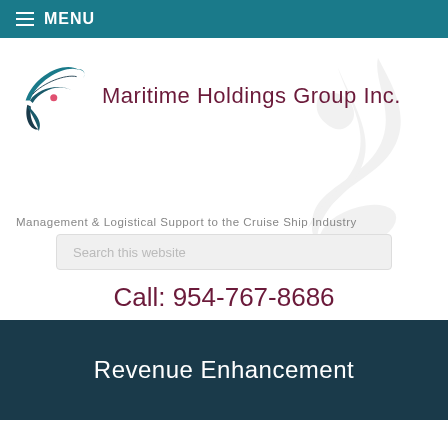MENU
Maritime Holdings Group Inc.
Management & Logistical Support to the Cruise Ship Industry
Search this website
Call: 954-767-8686
Revenue Enhancement